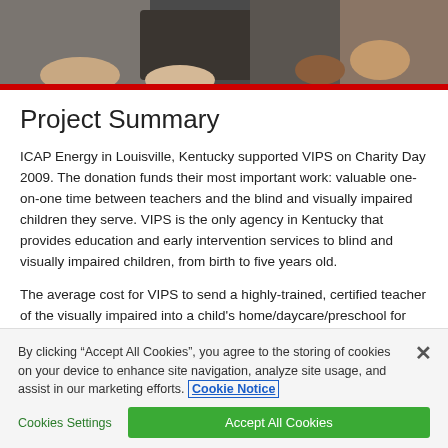[Figure (photo): Photo showing hands/people, likely in an educational or charity setting, with a red bar at the bottom]
Project Summary
ICAP Energy in Louisville, Kentucky supported VIPS on Charity Day 2009. The donation funds their most important work: valuable one-on-one time between teachers and the blind and visually impaired children they serve. VIPS is the only agency in Kentucky that provides education and early intervention services to blind and visually impaired children, from birth to five years old.
The average cost for VIPS to send a highly-trained, certified teacher of the visually impaired into a child’s home/daycare/preschool for one visit is $175/hour. It is during these valuable sessions that the children are taught basic life skills such as sensory integration (receiving and processing information); exploration, socialisation
By clicking “Accept All Cookies”, you agree to the storing of cookies on your device to enhance site navigation, analyze site usage, and assist in our marketing efforts. Cookie Notice
Cookies Settings
Accept All Cookies